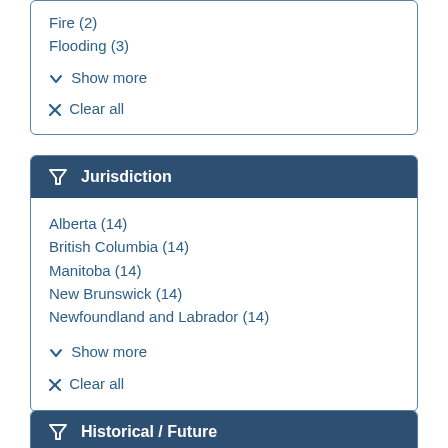Fire (2)
Flooding (3)
✔ Show more
✖ Clear all
Jurisdiction
Alberta (14)
British Columbia (14)
Manitoba (14)
New Brunswick (14)
Newfoundland and Labrador (14)
✔ Show more
✖ Clear all
Historical / Future